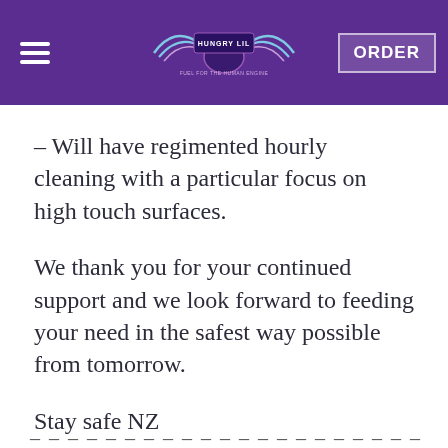[Figure (screenshot): Purple navigation header bar with hamburger menu icon on left, a winged logo with text 'HUNGRY LIL' in center, and an ORDER button on the right]
– Will have regimented hourly cleaning with a particular focus on high touch surfaces.
We thank you for your continued support and we look forward to feeding your need in the safest way possible from tomorrow.
Stay safe NZ
_ _ _ _ _ _ _ _ _ _ _ _ _ _ _ _ _ _ _ _ _